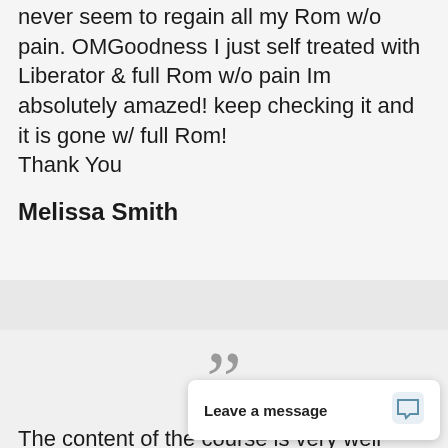never seem to regain all my Rom w/o pain. OMGoodness I just self treated with Liberator & full Rom w/o pain Im absolutely amazed! keep checking it and it is gone w/ full Rom!
Thank You
Melissa Smith
”
The content of the course is very well presented from the anatomy to pain referral patterns. The demos are easy to follow. It is great to be able to go back and revie... needed.